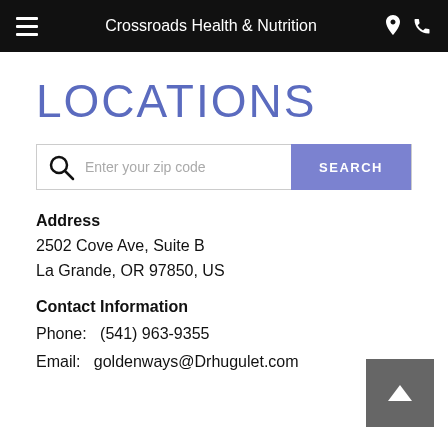Crossroads Health & Nutrition
LOCATIONS
[Figure (other): Search bar with magnifying glass icon, placeholder text 'Enter your zip code', and a purple SEARCH button]
Address
2502 Cove Ave, Suite B
La Grande, OR 97850, US
Contact Information
Phone:   (541) 963-9355
Email:   goldenways@Drhugulet.com